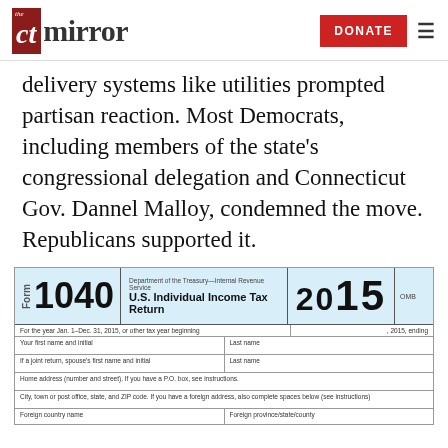the CT mirror | DONATE
delivery systems like utilities prompted partisan reaction. Most Democrats, including members of the state's congressional delegation and Connecticut Gov. Dannel Malloy, condemned the move. Republicans supported it.
[Figure (other): IRS Form 1040 U.S. Individual Income Tax Return 2015 — partial view showing the top section with form number, title, year, and fields for name, address, and foreign country information.]